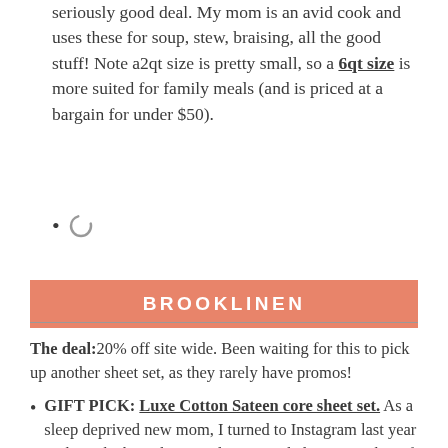seriously good deal. My mom is an avid cook and uses these for soup, stew, braising, all the good stuff! Note a2qt size is pretty small, so a 6qt size is more suited for family meals (and is priced at a bargain for under $50).
[loading spinner icon]
BROOKLINEN
The deal: 20% off site wide. Been waiting for this to pick up another sheet set, as they rarely have promos!
GIFT PICK: Luxe Cotton Sateen core sheet set. As a sleep deprived new mom, I turned to Instagram last year seeking the best sheets and an overwhelming number of you